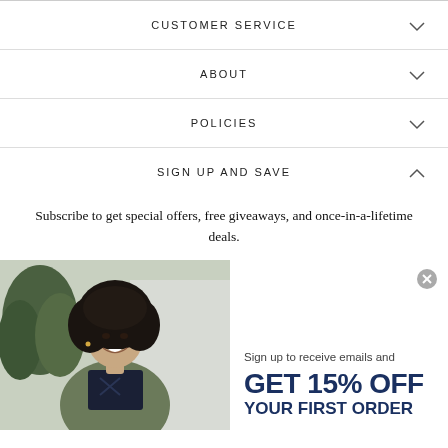CUSTOMER SERVICE
ABOUT
POLICIES
SIGN UP AND SAVE
Subscribe to get special offers, free giveaways, and once-in-a-lifetime deals.
[Figure (photo): Smiling woman with curly hair wearing an olive jacket outdoors near greenery]
Sign up to receive emails and GET 15% OFF YOUR FIRST ORDER